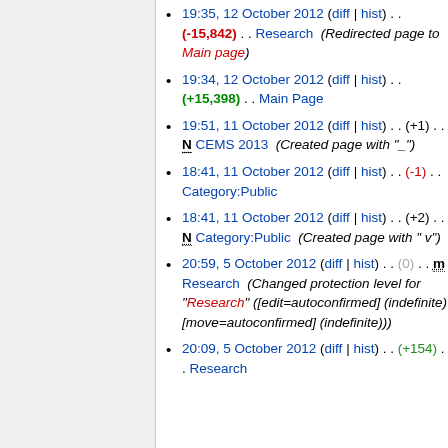19:35, 12 October 2012 (diff | hist) . . (-15,842) . . Research (Redirected page to Main page)
19:34, 12 October 2012 (diff | hist) . . (+15,398) . . Main Page
19:51, 11 October 2012 (diff | hist) . . (+1) . . N CEMS 2013 (Created page with "_")
18:41, 11 October 2012 (diff | hist) . . (-1) . . Category:Public
18:41, 11 October 2012 (diff | hist) . . (+2) . . N Category:Public (Created page with " v")
20:59, 5 October 2012 (diff | hist) . . (0) . . m Research (Changed protection level for "Research" ([edit=autoconfirmed] (indefinite) [move=autoconfirmed] (indefinite)))
20:09, 5 October 2012 (diff | hist) . . (+154) . . Research